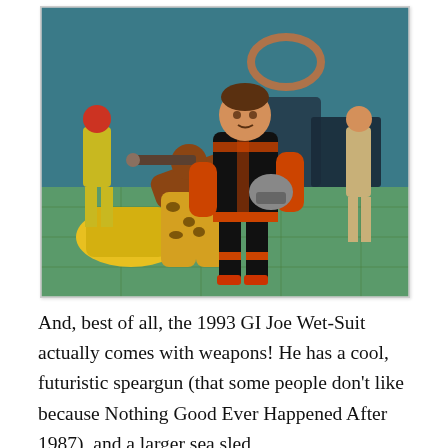[Figure (photo): Action figures photographed on a green tiled floor. Central figure wears black and orange suit (GI Joe Wet-Suit) holding another figure (brown/yellow leopard print pants) by the neck. Background includes yellow vehicle, teal walls, and other figures.]
And, best of all, the 1993 GI Joe Wet-Suit actually comes with weapons! He has a cool, futuristic speargun (that some people don't like because Nothing Good Ever Happened After 1987), and a larger sea sled